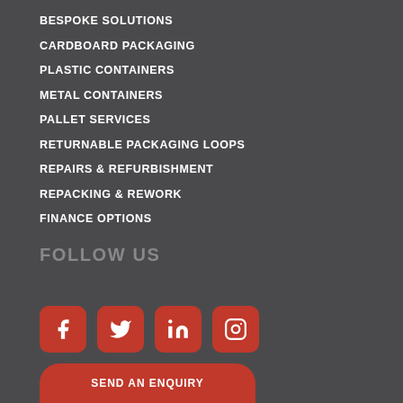BESPOKE SOLUTIONS
CARDBOARD PACKAGING
PLASTIC CONTAINERS
METAL CONTAINERS
PALLET SERVICES
RETURNABLE PACKAGING LOOPS
REPAIRS & REFURBISHMENT
REPACKING & REWORK
FINANCE OPTIONS
FOLLOW US
[Figure (infographic): Four social media icon buttons (Facebook, Twitter, LinkedIn, Instagram) in red rounded squares]
SEND AN ENQUIRY